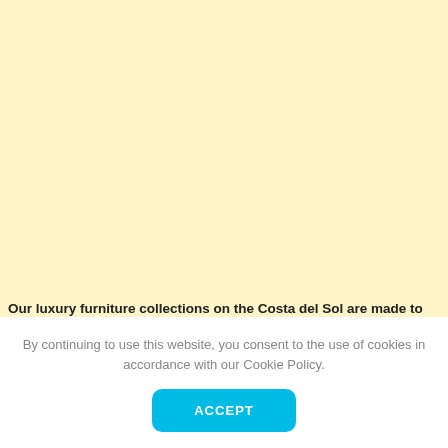[Figure (photo): Large cream/yellow background area representing a furniture or website image section]
Our luxury furniture collections on the Costa del Sol are made to the standards by some of the very best craftsmen and design companies
By continuing to use this website, you consent to the use of cookies in accordance with our Cookie Policy.
ACCEPT